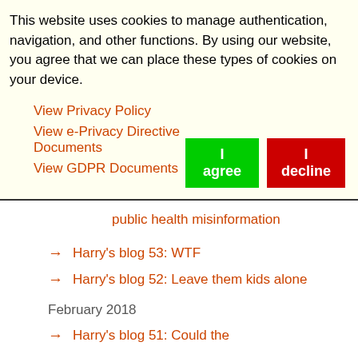This website uses cookies to manage authentication, navigation, and other functions. By using our website, you agree that we can place these types of cookies on your device.
View Privacy Policy
View e-Privacy Directive Documents
View GDPR Documents
public health misinformation
→ Harry's blog 53: WTF
→ Harry's blog 52: Leave them kids alone
February 2018
→ Harry's blog 51: Could the